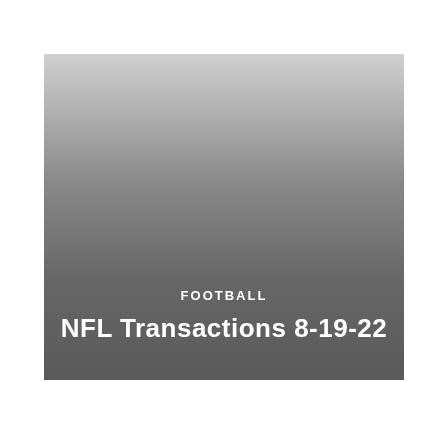[Figure (illustration): A gradient banner image fading from light gray at the top to dark gray at the bottom, containing the text 'FOOTBALL' and 'NFL Transactions 8-19-22' in white.]
FOOTBALL
NFL Transactions 8-19-22